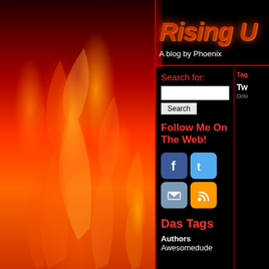[Figure (photo): Orange and red fire flames on black background, left side of page]
Rising Up (A blog by Phoenix)
A blog by Phoenix
Search for:
Search
Follow Me On The Web!
[Figure (infographic): Social media icons: Facebook, Twitter, Email, RSS feed]
Das Tags
Authors
Awesomedude
Tag
Tw
Octo